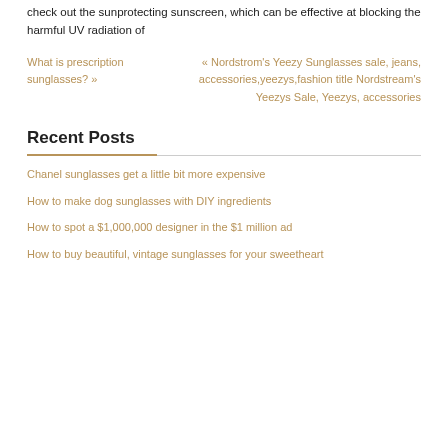check out the sunprotecting sunscreen, which can be effective at blocking the harmful UV radiation of
What is prescription sunglasses? »
« Nordstrom's Yeezy Sunglasses sale, jeans, accessories,yeezys,fashion title Nordstream's Yeezys Sale, Yeezys, accessories
Recent Posts
Chanel sunglasses get a little bit more expensive
How to make dog sunglasses with DIY ingredients
How to spot a $1,000,000 designer in the $1 million ad
How to buy beautiful, vintage sunglasses for your sweetheart